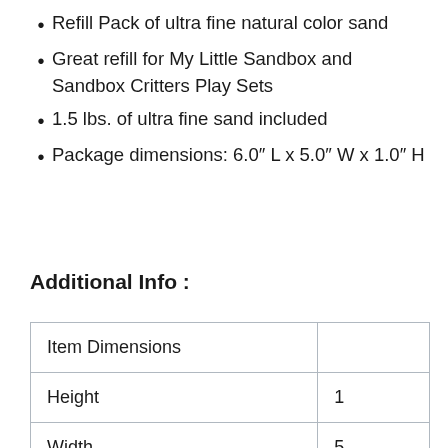Refill Pack of ultra fine natural color sand
Great refill for My Little Sandbox and Sandbox Critters Play Sets
1.5 lbs. of ultra fine sand included
Package dimensions: 6.0″ L x 5.0″ W x 1.0″ H
Additional Info :
| Item Dimensions |  |
| --- | --- |
| Height | 1 |
| Width | 5 |
| Length | 6 |